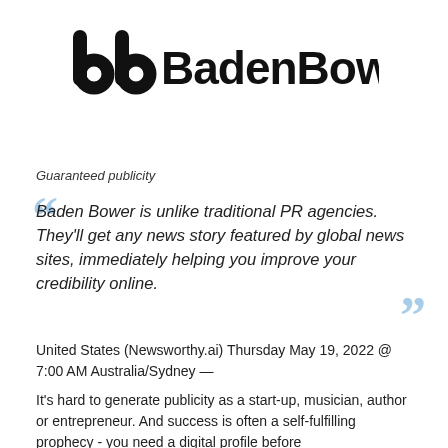[Figure (logo): BadenBower logo with stylized 'bb' icon followed by 'BadenBower' text in bold sans-serif]
Guaranteed publicity
Baden Bower is unlike traditional PR agencies. They'll get any news story featured by global news sites, immediately helping you improve your credibility online.
United States (Newsworthy.ai) Thursday May 19, 2022 @ 7:00 AM Australia/Sydney —
It's hard to generate publicity as a start-up, musician, author or entrepreneur. And success is often a self-fulfilling prophecy - you need a digital profile before